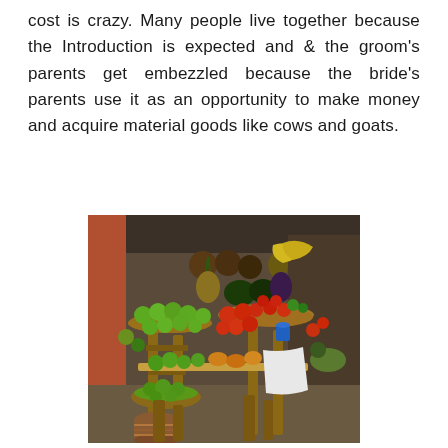cost is crazy. Many people live together because the Introduction is expected and & the groom's parents get embezzled because the bride's parents use it as an opportunity to make money and acquire material goods like cows and goats.
[Figure (photo): A market fruit stall displaying various tropical fruits including limes, tomatoes, mangoes, pineapples, bananas, and other produce arranged in baskets and bowls on wooden stands.]